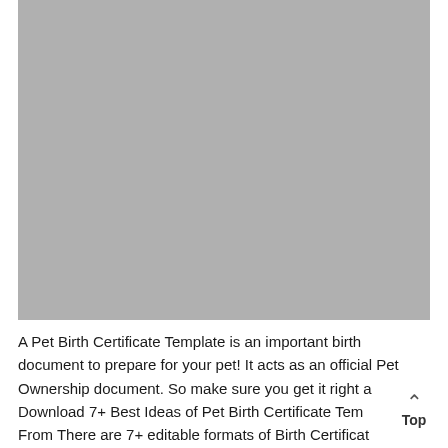[Figure (photo): A gray placeholder image area representing a Pet Birth Certificate Template image]
A Pet Birth Certificate Template is an important birth document to prepare for your pet! It acts as an official Pet Ownership document. So make sure you get it right a Download 7+ Best Ideas of Pet Birth Certificate Tem From There are 7+ editable formats of Birth Certificat